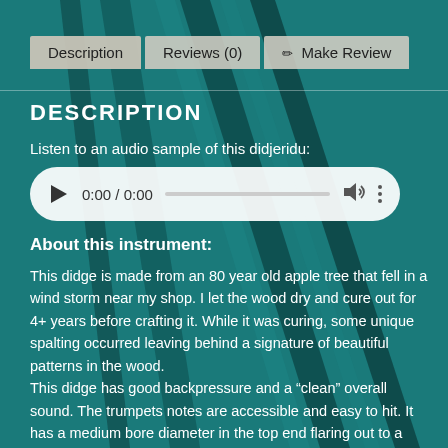[Figure (screenshot): Website product page screenshot showing navigation tabs (Description, Reviews (0), Make Review) and a description section for a didjeridu instrument with an audio player and descriptive text.]
Description | Reviews (0) | Make Review
DESCRIPTION
Listen to an audio sample of this didjeridu:
[Figure (other): Audio player widget showing 0:00 / 0:00 with play button, progress bar, volume icon, and more options icon]
About this instrument:
This didge is made from an 80 year old apple tree that fell in a wind storm near my shop. I let the wood dry and cure out for 4+ years before crafting it. While it was curing, some unique spalting occurred leaving behind a signature of beautiful patterns in the wood. This didge has good backpressure and a “clean” overall sound. The trumpets notes are accessible and easy to hit. It has a medium bore diameter in the top end flaring out to a large 7″ bell. I carved this didge so it has fairly thin wall thickness in hopes for increased resonance, I learned a lot in the process. The thin walls and density of this wood